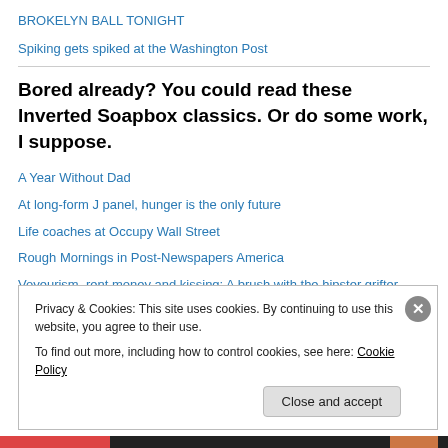BROKELYN BALL TONIGHT
Spiking gets spiked at the Washington Post
Bored already? You could read these Inverted Soapbox classics. Or do some work, I suppose.
A Year Without Dad
At long-form J panel, hunger is the only future
Life coaches at Occupy Wall Street
Rough Mornings in Post-Newspapers America
Voyeurism, rent money and kissing: A brush with the hipster grifter
Will horizontal loyalty save journalism?
Privacy & Cookies: This site uses cookies. By continuing to use this website, you agree to their use. To find out more, including how to control cookies, see here: Cookie Policy
Close and accept